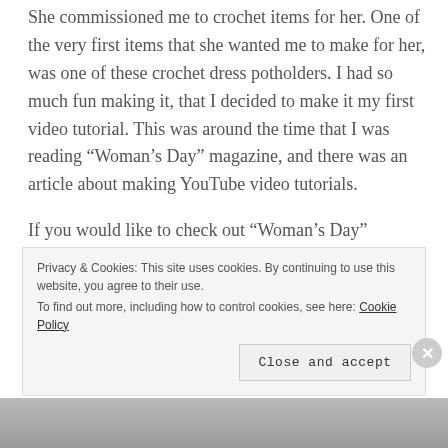She commissioned me to crochet items for her. One of the very first items that she wanted me to make for her, was one of these crochet dress potholders.  I had so much fun making it, that I decided to make it my first video tutorial. This was around the time that I was reading “Woman’s Day” magazine, and there was an article about making YouTube video tutorials.
If you would like to check out “Woman’s Day” magazine subscriptions, here is the direct Amazon affiliate link: Woman’s Day Magazine
Privacy & Cookies: This site uses cookies. By continuing to use this website, you agree to their use. To find out more, including how to control cookies, see here: Cookie Policy
Close and accept